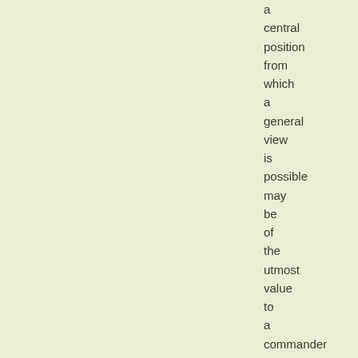a central position from which a general view is possible may be of the utmost value to a commander coming up hastily it may be, from the rear.